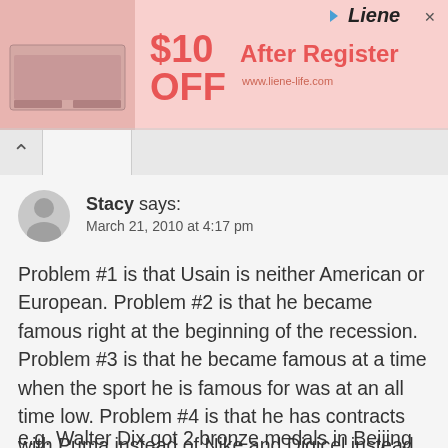[Figure (other): Advertisement banner for Liene brand showing a product image, '$10 OFF' text in red, 'After Register' text, website URL www.liene-life.com, and Liene brand name with close button]
Stacy says:
March 21, 2010 at 4:17 pm
Problem #1 is that Usain is neither American or European. Problem #2 is that he became famous right at the beginning of the recession. Problem #3 is that he became famous at a time when the sport he is famous for was at an all time low. Problem #4 is that he has contracts with Puma instead of Nike and Digicel instead of AT&T.
e.g. Walter Dix got 2 bronze medals in Beijing